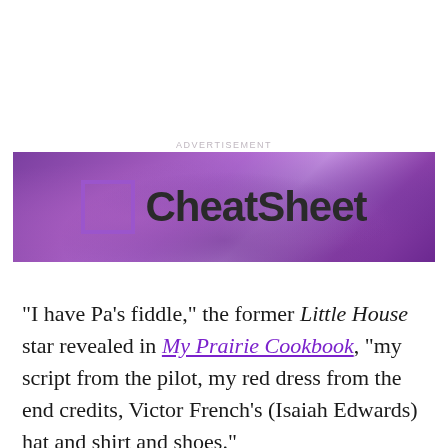[Figure (logo): CheatSheet advertisement banner with purple gradient background and CheatSheet logo (icon square outline + bold text)]
“I have Pa’s fiddle,” the former Little House star revealed in My Prairie Cookbook, “my script from the pilot, my red dress from the end credits, Victor French’s (Isaiah Edwards) hat and shirt and shoes.”